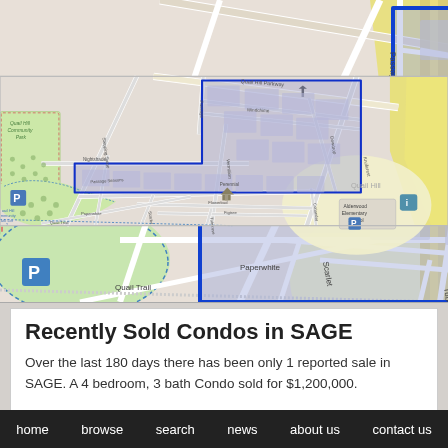[Figure (map): Street map of Quail Hill area in Irvine, CA showing neighborhood streets including Quail Hill Parkway, Windchime, Dewdrop, Knollcrest, Perennial, Vermillion, Nightshade, Flowerbud, Figtree, Tuberose, Scarlet, Paperwhite, Passage Seasons, Stepping Stone, Quail Trail, and Coriander. A blue polygon outline highlights the SAGE condo community. Features include Quail Hill Community Park, Alderwood Elementary School, a parking area, and a highway on the right edge.]
Recently Sold Condos in SAGE
Over the last 180 days there has been only 1 reported sale in SAGE. A 4 bedroom, 3 bath Condo sold for $1,200,000.
home   browse   search   news   about us   contact us